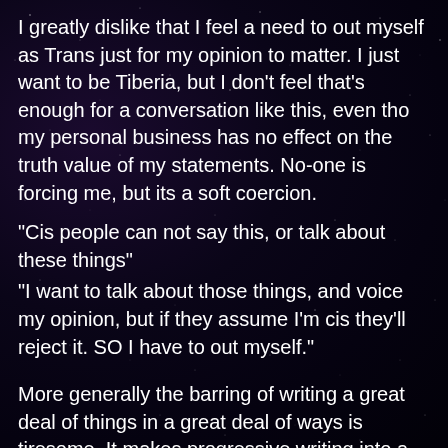I greatly dislike that I feel a need to out myself as Trans just for my opinion to matter. I just want to be Tiberia, but I don't feel that's enough for a conversation like this, even tho my personal business has no effect on the truth value of my statements. No-one is forcing me, but its a soft coercion.
“Cis people can not say this, or talk about these things”
“I want to talk about those things, and voice my opinion, but if they assume I’m cis they’ll reject it. SO I have to out myself.”
More generally the barring of writing a great deal of things in a great deal of ways is tiresome. It makes progressive writing into a chore. A laundry list of “do